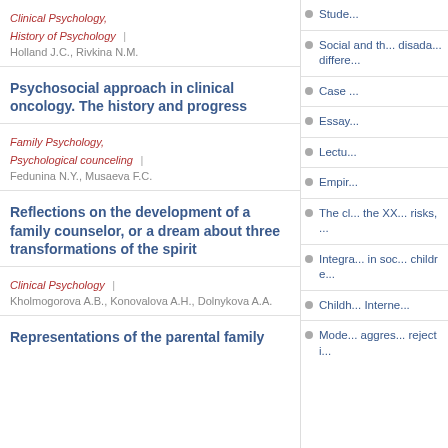Clinical Psychology, History of Psychology | Holland J.C., Rivkina N.M.
Psychosocial approach in clinical oncology. The history and progress
Family Psychology, Psychological counceling | Fedunina N.Y., Musaeva F.C.
Reflections on the development of a family counselor, or a dream about three transformations of the spirit
Clinical Psychology | Kholmogorova A.B., Konovalova A.H., Dolnykova A.A.
Representations of the parental family
Stude...
Social and th... disada... differe...
Case ...
Essay...
Lectu...
Empir...
The cl... the XX... risks, ...
Integra... in soc... childre...
Childh... Interne...
Mode... aggres... rejecti...